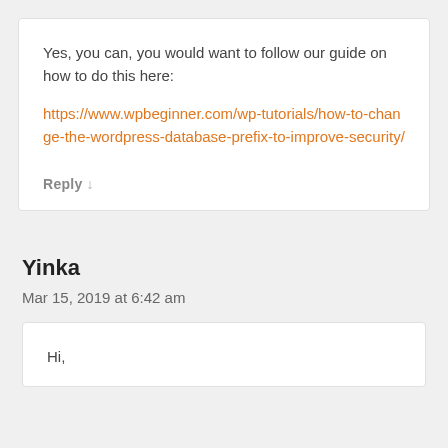Yes, you can, you would want to follow our guide on how to do this here: https://www.wpbeginner.com/wp-tutorials/how-to-change-the-wordpress-database-prefix-to-improve-security/
Reply ↓
Yinka
Mar 15, 2019 at 6:42 am
Hi,